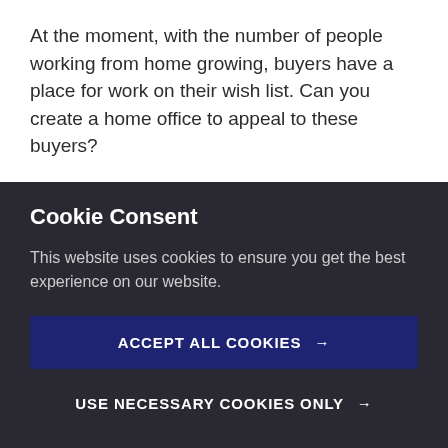At the moment, with the number of people working from home growing, buyers have a place for work on their wish list.  Can you create a home office to appeal to these buyers?
Signs of mould
Mould can be a common sight in a bathroom but it's a horror scene for buyers, so re-grout to help your bathroom look like a haven again.
Cookie Consent
This website uses cookies to ensure you get the best experience on our website.
ACCEPT ALL COOKIES →
USE NECESSARY COOKIES ONLY →